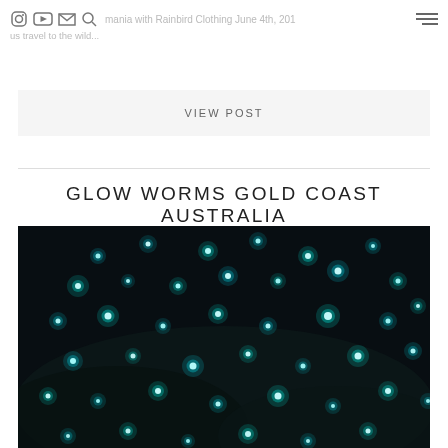mania with Rainbird Clothing June 4th, 201... us travel to the wild...
VIEW POST
GLOW WORMS GOLD COAST AUSTRALIA
[Figure (photo): Dark photo of glow worms showing many bright teal/cyan bioluminescent lights scattered across a dark background, resembling stars]